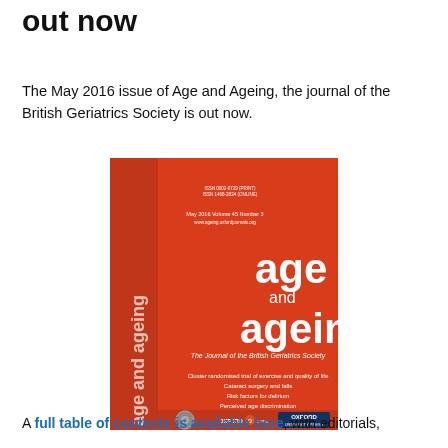out now
The May 2016 issue of Age and Ageing, the journal of the British Geriatrics Society is out now.
[Figure (photo): Cover of Age and Ageing journal, May 2016, Volume 45, Number 3. Red cover with white text showing 'age and ageing - The Journal of the British Geriatrics Society'. Lists articles including cluster randomised trial of exercise and quality of life, cataract surgery and falls, risk factors for delirium, perceived age discrimination, end of life care in nursing homes. Oxford University Press logo and Oxford Open logo at bottom.]
A full table of contents is available here, with editorials,